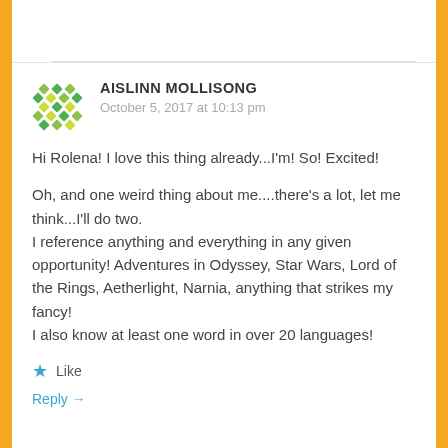AISLINN MOLLISONG
October 5, 2017 at 10:13 pm
Hi Rolena! I love this thing already...I'm! So! Excited!
Oh, and one weird thing about me....there's a lot, let me think...I'll do two.
I reference anything and everything in any given opportunity! Adventures in Odyssey, Star Wars, Lord of the Rings, Aetherlight, Narnia, anything that strikes my fancy!
I also know at least one word in over 20 languages!
Like
Reply →